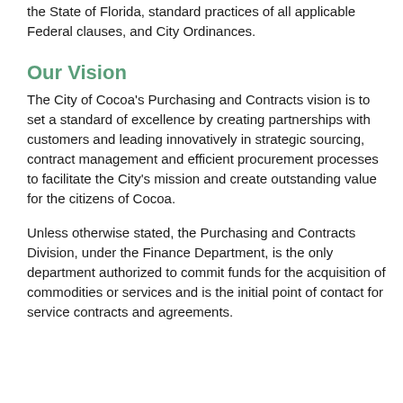complying with all statutory requirements of the State of Florida, standard practices of all applicable Federal clauses, and City Ordinances.
Our Vision
The City of Cocoa's Purchasing and Contracts vision is to set a standard of excellence by creating partnerships with customers and leading innovatively in strategic sourcing, contract management and efficient procurement processes to facilitate the City's mission and create outstanding value for the citizens of Cocoa.
Unless otherwise stated, the Purchasing and Contracts Division, under the Finance Department, is the only department authorized to commit funds for the acquisition of commodities or services and is the initial point of contact for service contracts and agreements.